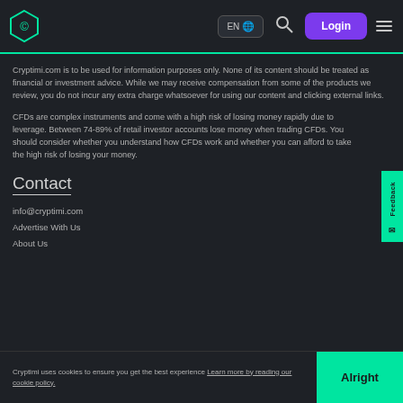EN | Login
Cryptimi.com is to be used for information purposes only. None of its content should be treated as financial or investment advice. While we may receive compensation from some of the products we review, you do not incur any extra charge whatsoever for using our content and clicking external links.
CFDs are complex instruments and come with a high risk of losing money rapidly due to leverage. Between 74-89% of retail investor accounts lose money when trading CFDs. You should consider whether you understand how CFDs work and whether you can afford to take the high risk of losing your money.
Contact
info@cryptimi.com
Advertise With Us
About Us
Cryptimi uses cookies to ensure you get the best experience Learn more by reading our cookie policy.